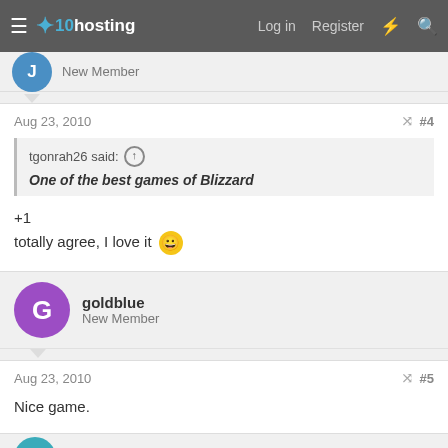x10hosting — Log in  Register
New Member
Aug 23, 2010  #4
tgonrah26 said: ↑
One of the best games of Blizzard
+1
totally agree, I love it 😀
goldblue
New Member
Aug 23, 2010  #5
Nice game.